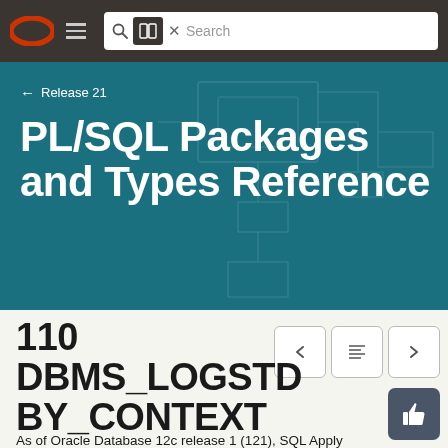Oracle navigation bar with logo, hamburger menu, search box
[Figure (screenshot): Oracle documentation website header with teal hero banner showing 'PL/SQL Packages and Types Reference' and chapter heading '110 DBMS_LOGSTDBY_CONTEXT']
← Release 21
PL/SQL Packages and Types Reference
110 DBMS_LOGSTDBY_CONTEXT
As of Oracle Database 12c release 1 (121), SQL Apply